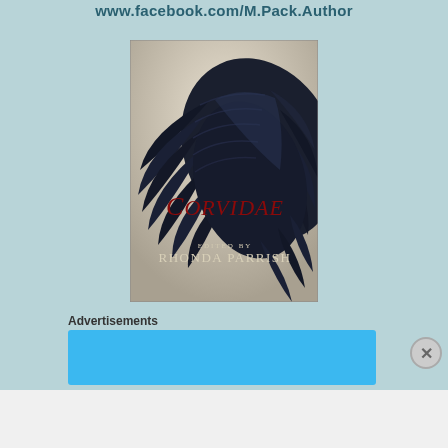www.facebook.com/M.Pack.Author
[Figure (illustration): Book cover of 'Corvidae' edited by Rhonda Parrish, featuring a large dark blue/black bird wing against a silver background, with the title in dark red serif font and the editor's name in white serif font at the bottom.]
Advertisements
[Figure (screenshot): Blue advertisement bar at the top of an ad section]
Advertisements
[Figure (screenshot): WordPress advertisement banner reading 'Create immersive stories. GET THE APP' with WordPress logo]